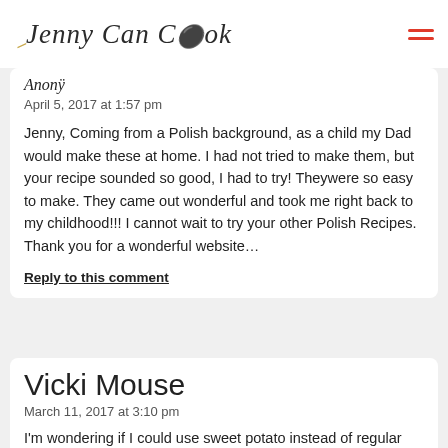Jenny Can Cook
April 5, 2017 at 1:57 pm
Jenny, Coming from a Polish background, as a child my Dad would make these at home. I had not tried to make them, but your recipe sounded so good, I had to try! Theywere so easy to make. They came out wonderful and took me right back to my childhood!!! I cannot wait to try your other Polish Recipes. Thank you for a wonderful website…
Reply to this comment
Vicki Mouse
March 11, 2017 at 3:10 pm
I'm wondering if I could use sweet potato instead of regular potato…